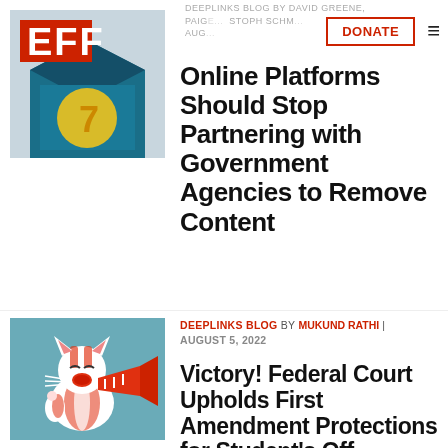[Figure (logo): EFF logo with '7' graphic on teal/blue background envelope illustration]
DEEPLINKS BLOG BY DAVID GREENE, PAIGE... STOPH SCHM... | AUG...
DONATE
Online Platforms Should Stop Partnering with Government Agencies to Remove Content
[Figure (illustration): Cartoon red-and-white striped cat shouting into a megaphone on teal background]
DEEPLINKS BLOG BY MUKUND RATHI | AUGUST 5, 2022
Victory! Federal Court Upholds First Amendment Protections for Student's Off-Campus Social Media Post